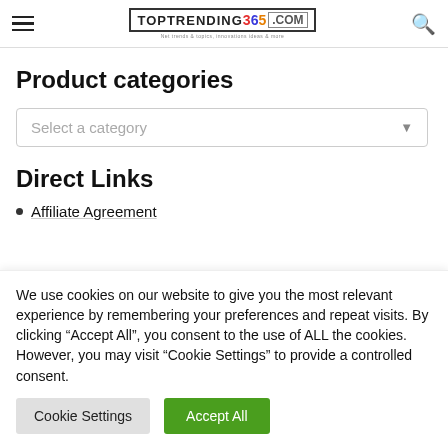TOPTRENDING 365 .COM
Product categories
Select a category
Direct Links
Affiliate Agreement
We use cookies on our website to give you the most relevant experience by remembering your preferences and repeat visits. By clicking "Accept All", you consent to the use of ALL the cookies. However, you may visit "Cookie Settings" to provide a controlled consent.
Cookie Settings | Accept All